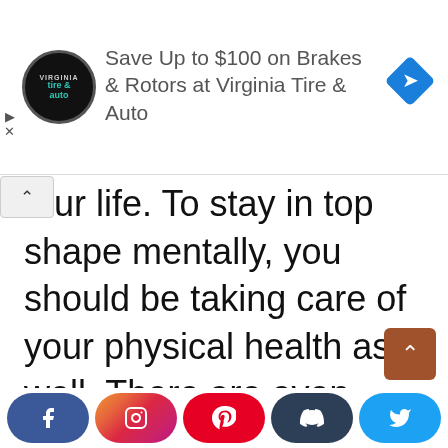[Figure (other): Advertisement banner for Virginia Tire & Auto: circular black logo with 'tire & auto' text, ad text 'Save Up to $100 on Brakes & Rotors at Virginia Tire & Auto', blue diamond navigation icon on right.]
your life. To stay in top shape mentally, you should be taking care of your physical health as well. There are even ways to improve your emotional health, like looking at things from a different perspective. And remember that you can always
[Figure (other): Social media share bar with Facebook, Instagram, Pinterest, Tumblr, and Twitter buttons.]